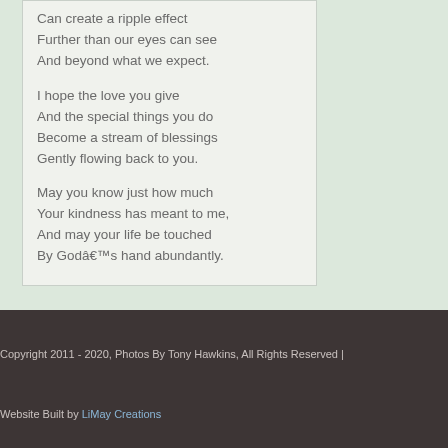Can create a ripple effect
Further than our eyes can see
And beyond what we expect.

I hope the love you give
And the special things you do
Become a stream of blessings
Gently flowing back to you.

May you know just how much
Your kindness has meant to me,
And may your life be touched
By Godâ€™s hand abundantly.
Copyright 2011 - 2020, Photos By Tony Hawkins, All Rights Reserved |
Website Built by LiMay Creations